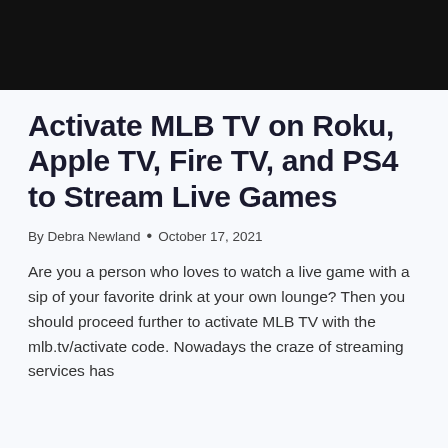[Figure (photo): Black banner image at the top of the page]
Activate MLB TV on Roku, Apple TV, Fire TV, and PS4 to Stream Live Games
By Debra Newland • October 17, 2021
Are you a person who loves to watch a live game with a sip of your favorite drink at your own lounge? Then you should proceed further to activate MLB TV with the mlb.tv/activate code. Nowadays the craze of streaming services has